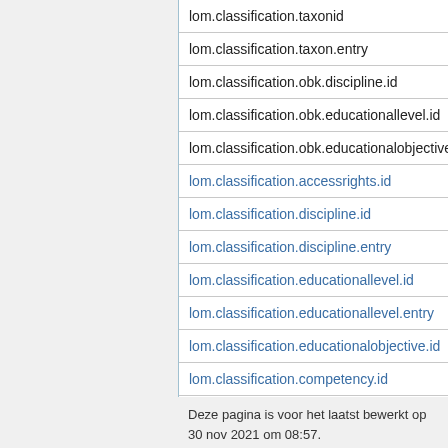| lom.classification.taxonid |
| lom.classification.taxon.entry |
| lom.classification.obk.discipline.id |
| lom.classification.obk.educationallevel.id |
| lom.classification.obk.educationalobjective |
| lom.classification.accessrights.id |
| lom.classification.discipline.id |
| lom.classification.discipline.entry |
| lom.classification.educationallevel.id |
| lom.classification.educationallevel.entry |
| lom.classification.educationalobjective.id |
| lom.classification.competency.id |
| lom.classification.idea.id |
Deze pagina is voor het laatst bewerkt op 30 nov 2021 om 08:57.